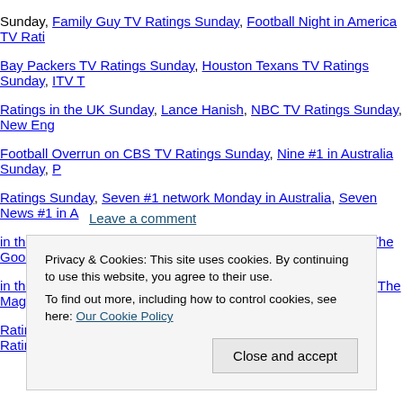Sunday, Family Guy TV Ratings Sunday, Football Night in America TV Ratings, Bay Packers TV Ratings Sunday, Houston Texans TV Ratings Sunday, ITV TV Ratings in the UK Sunday, Lance Hanish, NBC TV Ratings Sunday, New England Football Overrun on CBS TV Ratings Sunday, Nine #1 in Australia Sunday, Ratings Sunday, Seven #1 network Monday in Australia, Seven News #1 in A in the UK Sunday, Sunday Night Football TV Ratings Sunday, The Good Wife in the UK Sunday, The Last Man On Earth TV Ratings Sunday, The Magic of Ratings Sunday, The OT TV ratings Sunday, The Simpsons TV Ratings Sunday
Leave a comment
Privacy & Cookies: This site uses cookies. By continuing to use this website, you agree to their use.
To find out more, including how to control cookies, see here: Our Cookie Policy
Close and accept